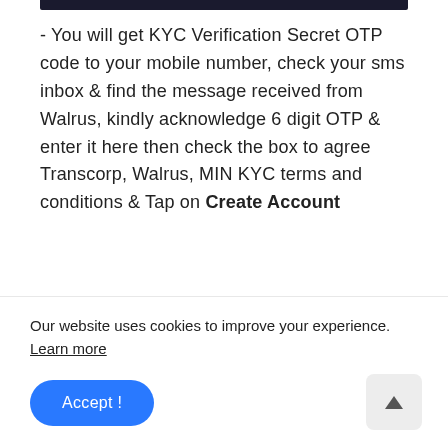[Figure (other): Dark navy/black horizontal bar at the top of the content area]
- You will get KYC Verification Secret OTP code to your mobile number, check your sms inbox & find the message received from Walrus, kindly acknowledge 6 digit OTP & enter it here then check the box to agree Transcorp, Walrus, MIN KYC terms and conditions & Tap on Create Account
[Figure (other): Dark navy/black rectangular box, partially visible at bottom of content area]
Our website uses cookies to improve your experience. Learn more
Accept !